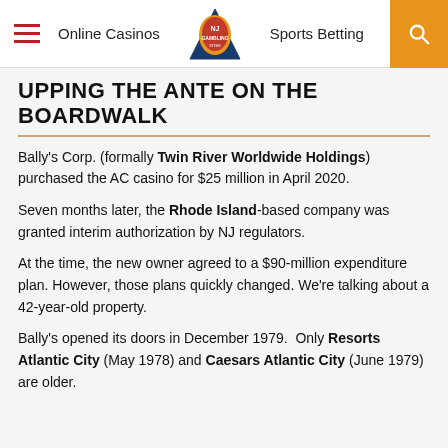Online Casinos | NJ Gambling | Sports Betting
UPPING THE ANTE ON THE BOARDWALK
Bally's Corp. (formally Twin River Worldwide Holdings) purchased the AC casino for $25 million in April 2020.
Seven months later, the Rhode Island-based company was granted interim authorization by NJ regulators.
At the time, the new owner agreed to a $90-million expenditure plan. However, those plans quickly changed. We're talking about a 42-year-old property.
Bally's opened its doors in December 1979.  Only Resorts Atlantic City (May 1978) and Caesars Atlantic City (June 1979) are older.